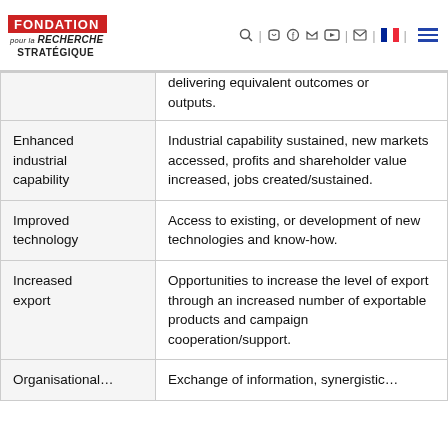FONDATION pour la RECHERCHE STRATÉGIQUE
| Category | Description |
| --- | --- |
| [partial] | …delivering equivalent outcomes or outputs. |
| Enhanced industrial capability | Industrial capability sustained, new markets accessed, profits and shareholder value increased, jobs created/sustained. |
| Improved technology | Access to existing, or development of new technologies and know-how. |
| Increased export | Opportunities to increase the level of export through an increased number of exportable products and campaign cooperation/support. |
| Organisational… | Exchange of information, synergistic… |